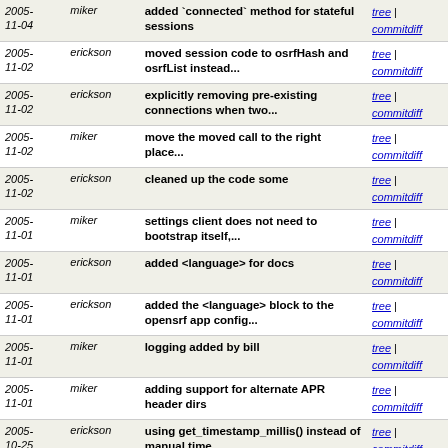| Date | Author | Message | Links |
| --- | --- | --- | --- |
| 2005-11-04 | miker | added `connected` method for stateful sessions | tree | commitdiff |
| 2005-11-02 | erickson | moved session code to osrfHash and osrfList instead... | tree | commitdiff |
| 2005-11-02 | erickson | explicitly removing pre-existing connections when two... | tree | commitdiff |
| 2005-11-02 | miker | move the moved call to the right place... | tree | commitdiff |
| 2005-11-02 | erickson | cleaned up the code some | tree | commitdiff |
| 2005-11-01 | miker | settings client does not need to bootstrap itself,... | tree | commitdiff |
| 2005-11-01 | erickson | added <language> for docs | tree | commitdiff |
| 2005-11-01 | erickson | added the <language> block to the opensrf app config... | tree | commitdiff |
| 2005-11-01 | miker | logging added by bill | tree | commitdiff |
| 2005-11-01 | miker | adding support for alternate APR header dirs | tree | commitdiff |
| 2005-10-25 | erickson | using get_timestamp_millis() instead of manual time... | tree | commitdiff |
| 2005-10-24 | erickson | forcing user opensrf to start the system | tree | commitdiff |
| 2005-10-24 | erickson | not allowing the code to be run as root | tree | commitdiff |
| 2005- | erickson | added section in core config for C | tree | commitdiff |